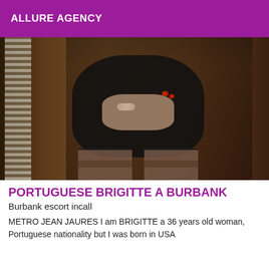ALLURE AGENCY
[Figure (photo): A woman wearing a black lace mini dress and stockings, holding her hands in front of her, with a bracelet and ring visible. The background shows a wooden door/wall interior.]
PORTUGUESE BRIGITTE A BURBANK
Burbank escort incall
METRO JEAN JAURES I am BRIGITTE a 36 years old woman, Portuguese nationality but I was born in USA